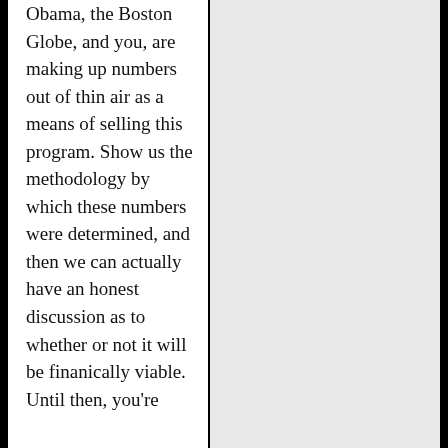Obama, the Boston Globe, and you, are making up numbers out of thin air as a means of selling this program. Show us the methodology by which these numbers were determined, and then we can actually have an honest discussion as to whether or not it will be finanically viable. Until then, you're